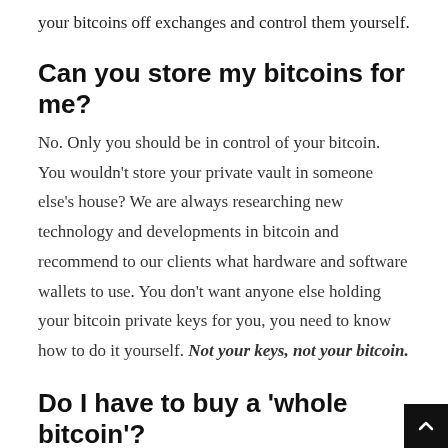your bitcoins off exchanges and control them yourself.
Can you store my bitcoins for me?
No. Only you should be in control of your bitcoin. You wouldn't store your private vault in someone else's house? We are always researching new technology and developments in bitcoin and recommend to our clients what hardware and software wallets to use. You don't want anyone else holding your bitcoin private keys for you, you need to know how to do it yourself. Not your keys, not your bitcoin.
Do I have to buy a 'whole bitcoin'?